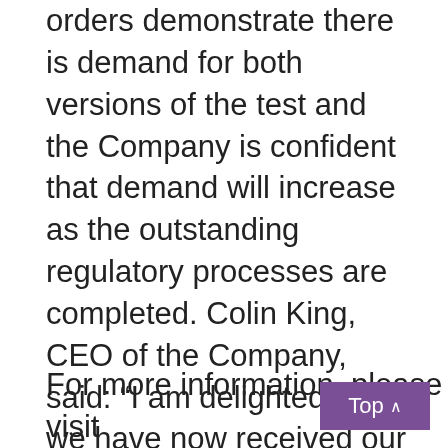orders demonstrate there is demand for both versions of the test and the Company is confident that demand will increase as the outstanding regulatory processes are completed. Colin King, CEO of the Company, said: “I am delighted that we have now received our first significant purchase orders for both formats of our CD4 test which illustrates there is a clear demand for our innovative and unique products. These tests will have a profoundly positive impact for people living with HIV who currently struggle to access the appropriate healthcare.”
For more information, please visit...